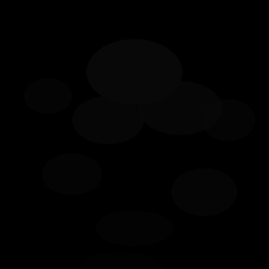[Figure (photo): A predominantly black image with very faint, barely visible dark outlines or shapes that appear to be a heavily underexposed or darkened photograph. Some faint lighter areas are visible in the upper-middle portion and scattered across the image, suggesting a very dark scene with minimal light.]